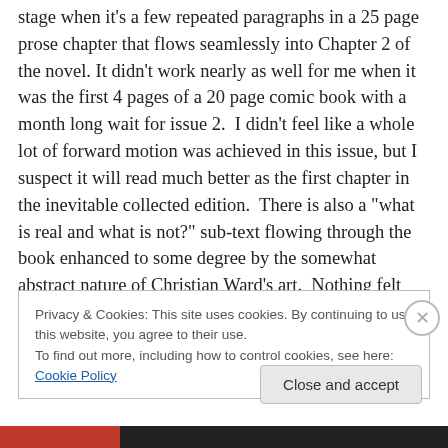stage when it's a few repeated paragraphs in a 25 page prose chapter that flows seamlessly into Chapter 2 of the novel. It didn't work nearly as well for me when it was the first 4 pages of a 20 page comic book with a month long wait for issue 2.  I didn't feel like a whole lot of forward motion was achieved in this issue, but I suspect it will read much better as the first chapter in the inevitable collected edition.  There is also a "what is real and what is not?" sub-text flowing through the book enhanced to some degree by the somewhat abstract nature of Christian Ward's art.  Nothing felt grounded, the "let's have some
Privacy & Cookies: This site uses cookies. By continuing to use this website, you agree to their use.
To find out more, including how to control cookies, see here: Cookie Policy